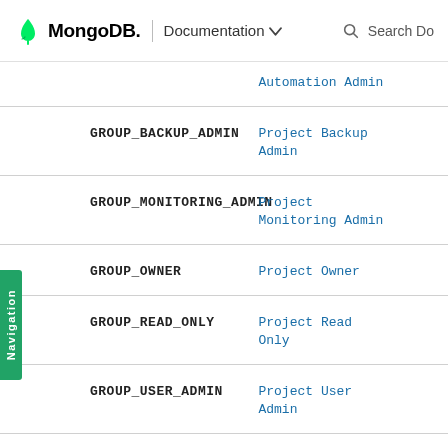MongoDB | Documentation
| API Constant | UI Role Name |
| --- | --- |
|  | Automation Admin |
| GROUP_BACKUP_ADMIN | Project Backup Admin |
| GROUP_MONITORING_ADMIN | Project Monitoring Admin |
| GROUP_OWNER | Project Owner |
| GROUP_READ_ONLY | Project Read Only |
| GROUP_USER_ADMIN | Project User Admin |
| GROUP_DATA_ACCESS_ADMIN | ct Data ... |